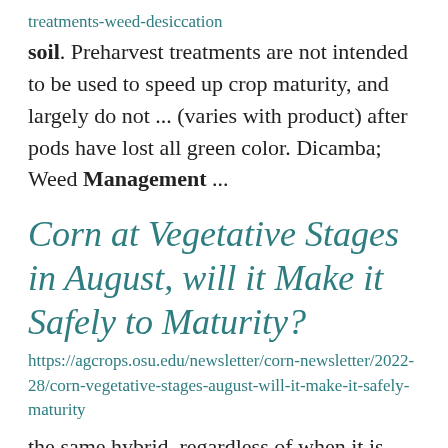treatments-weed-desiccation soil. Preharvest treatments are not intended to be used to speed up crop maturity, and largely do not ... (varies with product) after pods have lost all green color. Dicamba; Weed Management ...
Corn at Vegetative Stages in August, will it Make it Safely to Maturity?
https://agcrops.osu.edu/newsletter/corn-newsletter/2022-28/corn-vegetative-stages-august-will-it-make-it-safely-maturity
the same hybrid, regardless of when it is planted. However, research has shown that hybrids are directed to reach to diet...